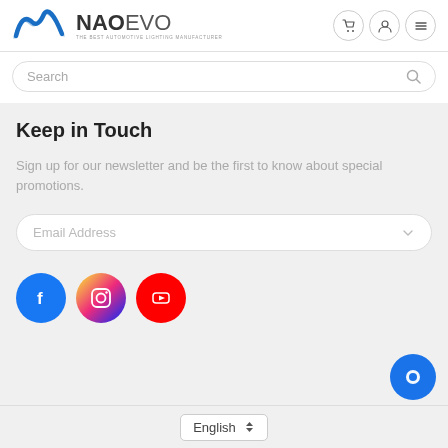[Figure (logo): NAOEVO logo — stylized NAO swoosh graphic in blue with text NAOEVO and tagline THE BEST AUTOMOTIVE LIGHTING MANUFACTURER]
Search
Keep in Touch
Sign up for our newsletter and be the first to know about special promotions.
Email Address
[Figure (illustration): Three social media icon circles: Facebook (blue), Instagram (gradient pink/purple), YouTube (red)]
[Figure (illustration): Blue circular chat/messaging button in bottom right corner]
English